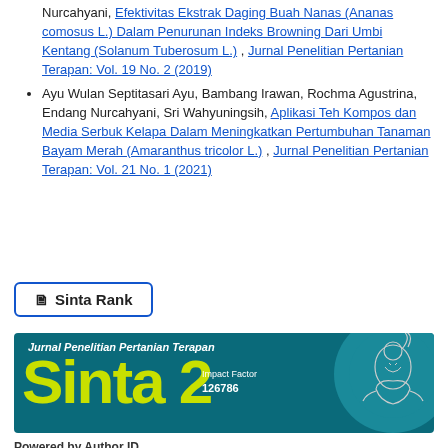Nurcahyani, Efektivitas Ekstrak Daging Buah Nanas (Ananas comosus L.) Dalam Penurunan Indeks Browning Dari Umbi Kentang (Solanum Tuberosum L.) , Jurnal Penelitian Pertanian Terapan: Vol. 19 No. 2 (2019)
Ayu Wulan Septitasari Ayu, Bambang Irawan, Rochma Agustrina, Endang Nurcahyani, Sri Wahyuningsih, Aplikasi Teh Kompos dan Media Serbuk Kelapa Dalam Meningkatkan Pertumbuhan Tanaman Bayam Merah (Amaranthus tricolor L.) , Jurnal Penelitian Pertanian Terapan: Vol. 21 No. 1 (2021)
🗎 Sinta Rank
[Figure (infographic): Sinta Rank badge for Jurnal Penelitian Pertanian Terapan showing Sinta 2 ranking with Impact Factor 126786, teal background with decorative Wayang circle motif, and 'Powered by Author ID' text below.]